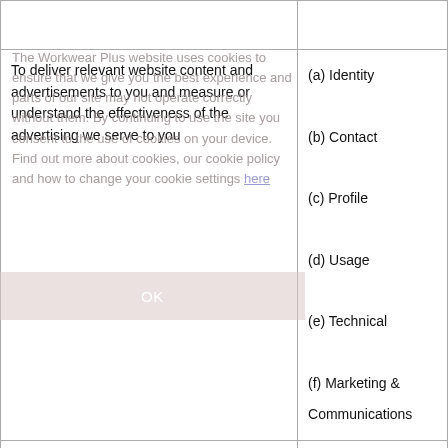| Purpose/Activity | Type of data |
| --- | --- |
| To deliver relevant website content and advertisements to you and measure or understand the effectiveness of the advertising we serve to you | (a) Identity
(b) Contact
(c) Profile
(d) Usage
(e) Technical
(f) Marketing & Communications |
| To use data analytics to improve our Website, products/services, marketing, customer relationships and experiences | (a) Technical
(b) Usage |